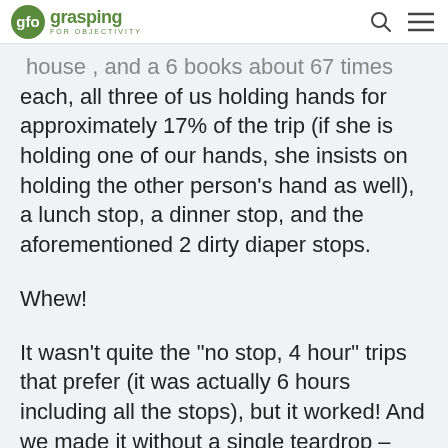grasping for objectivity
house, and a 6 books about 67 times each, all three of us holding hands for approximately 17% of the trip (if she is holding one of our hands, she insists on holding the other person's hand as well), a lunch stop, a dinner stop, and the aforementioned 2 dirty diaper stops.
Whew!
It wasn't quite the “no stop, 4 hour” trips that prefer (it was actually 6 hours including all the stops), but it worked! And we made it without a single teardrop – from ANY of us!!
Here’s a few pics from the day so far (currently, it is naptime, also known as